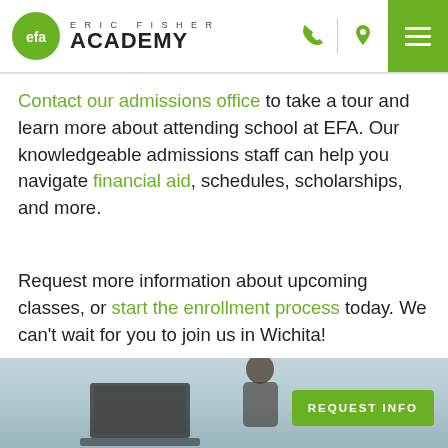[Figure (logo): Eric Fisher Academy logo: green circle with 'efa' monogram, text 'ERIC FISHER' above 'ACADEMY' in bold, navigation icons (phone, location, hamburger menu) on right]
Contact our admissions office to take a tour and learn more about attending school at EFA. Our knowledgeable admissions staff can help you navigate financial aid, schedules, scholarships, and more.
Request more information about upcoming classes, or start the enrollment process today. We can’t wait for you to join us in Wichita!
[Figure (photo): Partial photo of a person working on a laptop, bottom strip of the page]
REQUEST INFO